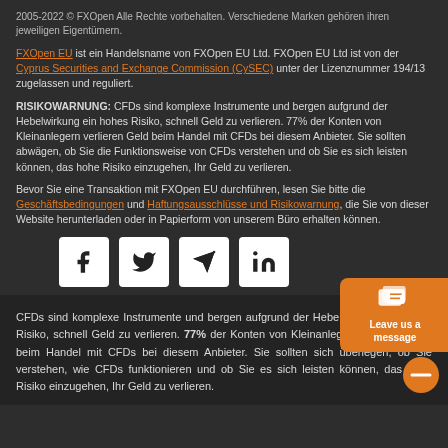2005-2022 © FXOpen Alle Rechte vorbehalten. Verschiedene Marken gehören ihren jeweiligen Eigentümern.
FXOpen EU ist ein Handelsname von FXOpen EU Ltd. FXOpen EU Ltd ist von der Cyprus Securities and Exchange Commission (CySEC) unter der Lizenznummer 194/13 zugelassen und reguliert.
RISIKOWARNUNG: CFDs sind komplexe Instrumente und bergen aufgrund der Hebelwirkung ein hohes Risiko, schnell Geld zu verlieren. 77% der Konten von Kleinanlegern verlieren Geld beim Handel mit CFDs bei diesem Anbieter. Sie sollten abwägen, ob Sie die Funktionsweise von CFDs verstehen und ob Sie es sich leisten können, das hohe Risiko einzugehen, Ihr Geld zu verlieren.
Bevor Sie eine Transaktion mit FXOpen EU durchführen, lesen Sie bitte die Geschäftsbedingungen und Haftungsausschlüsse und Risikowarnung, die Sie von dieser Website herunterladen oder in Papierform von unserem Büro erhalten können.
[Figure (other): Social media icons row: Facebook, Twitter, Telegram, LinkedIn]
CFDs sind komplexe Instrumente und bergen aufgrund der Hebelwirkung ein hohes Risiko, schnell Geld zu verlieren. 77% der Konten von Kleinanlegern verlieren Geld beim Handel mit CFDs bei diesem Anbieter. Sie sollten sich überlegen, ob Sie verstehen, wie CFDs funktionieren und ob Sie es sich leisten können, das hohe Risiko einzugehen, Ihr Geld zu verlieren.